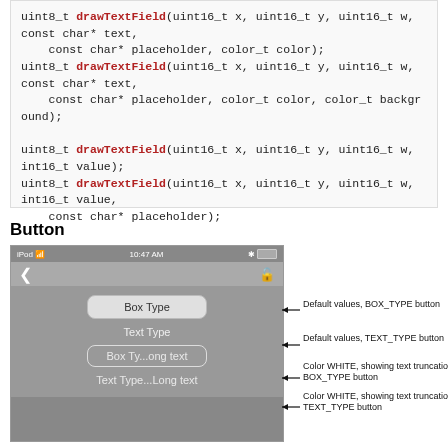[Figure (screenshot): Code block showing multiple drawTextField function signatures with parameters including uint16_t x, uint16_t y, uint16_t w, const char* text, const char* placeholder, color_t color, color_t background, int16_t value]
Button
[Figure (screenshot): iPhone/iPod screenshot showing Button UI elements: Box Type button (BOX_TYPE, default), Text Type button (TEXT_TYPE, default), Box Ty...ong text (BOX_TYPE, Color WHITE, truncated), Text Type...Long text (TEXT_TYPE, Color WHITE, truncated). Annotations on the right describe each button type.]